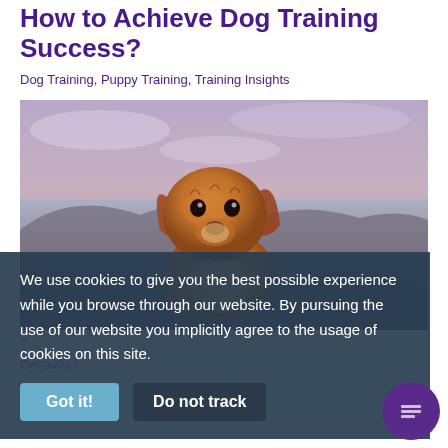How to Achieve Dog Training Success?
Dog Training, Puppy Training, Training Insights
[Figure (photo): A golden/brown Cavalier King Charles Spaniel dog photographed outdoors with a blurred beach/lake background and purple-toned sky.]
We use cookies to give you the best possible experience while you browse through our website. By pursuing the use of our website you implicitly agree to the usage of cookies on this site.